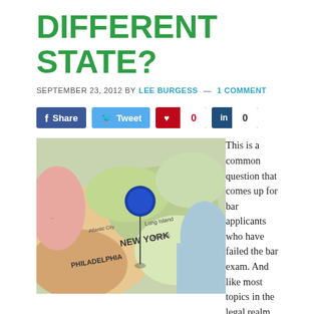DIFFERENT STATE?
SEPTEMBER 23, 2012 BY LEE BURGESS — 1 COMMENT
[Figure (other): Social share buttons: Share (Facebook), Tweet (Twitter), Pinterest with count 0, LinkedIn with count 0]
[Figure (photo): Photo of a map with a blue pushpin stuck into it near the northeastern United States, showing New York, Philadelphia, Atlantic City area.]
This is a common question that comes up for bar applicants who have failed the bar exam. And like most topics in the legal realm, the answer is (not shockingly)... it depends